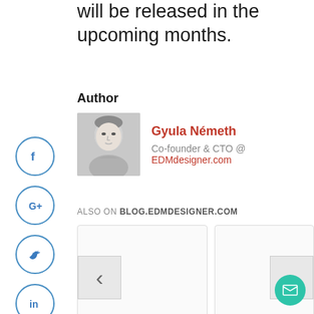will be released in the upcoming months.
Author
[Figure (photo): Headshot photo of Gyula Németh in grayscale]
Gyula Németh
Co-founder & CTO @ EDMdesigner.com
ALSO ON BLOG.EDMDESIGNER.COM
[Figure (screenshot): Navigation cards carousel with left and right arrow buttons]
[Figure (illustration): Email/contact floating button (green circle with envelope icon)]